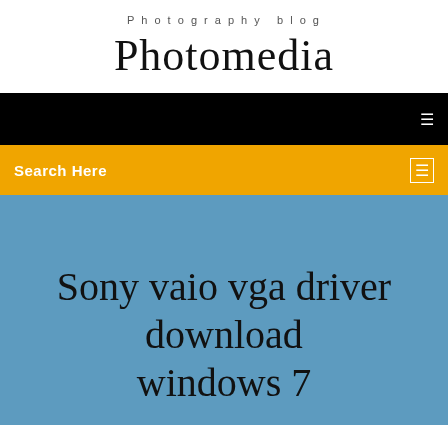Photography blog
Photomedia
[Figure (screenshot): Black navigation bar with white menu icon on the right]
Search Here
Sony vaio vga driver download windows 7